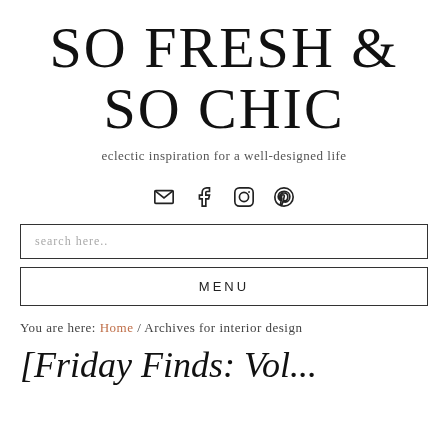SO FRESH & SO CHIC
eclectic inspiration for a well-designed life
[Figure (infographic): Social media icons: email (envelope), Facebook, Instagram, Pinterest]
search here..
MENU
You are here: Home / Archives for interior design
[Friday Finds: Vol...